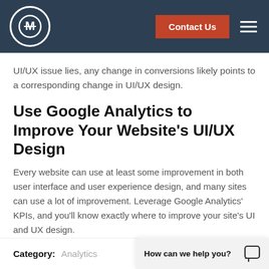Contact Us
UI/UX issue lies, any change in conversions likely points to a corresponding change in UI/UX design.
Use Google Analytics to Improve Your Website's UI/UX Design
Every website can use at least some improvement in both user interface and user experience design, and many sites can use a lot of improvement. Leverage Google Analytics' KPIs, and you'll know exactly where to improve your site's UI and UX design.
Category: Analytics